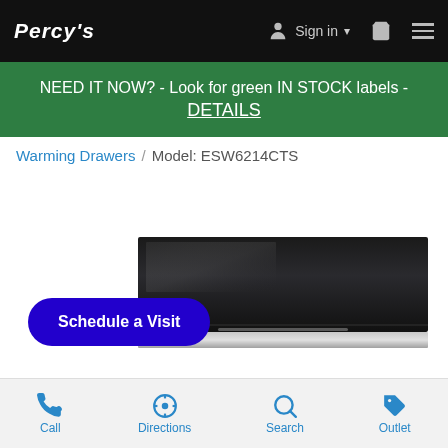PERCYS — Sign in — Cart — Menu
NEED IT NOW? - Look for green IN STOCK labels - DETAILS
Warming Drawers / Model: ESW6214CTS
[Figure (photo): Warming drawer appliance — black glass front panel with silver/stainless trim at base, rectangular shape]
Schedule a Visit
Call  Directions  Search  Outlet